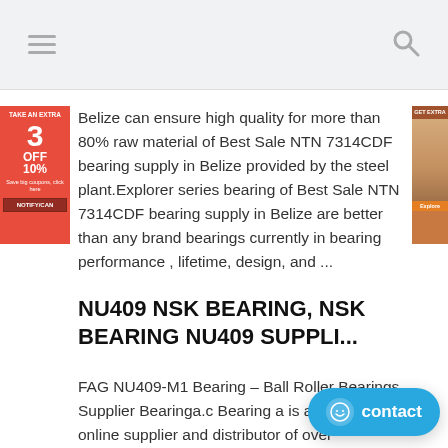≡  [hamburger menu]  [search icon]
Belize can ensure high quality for more than 80% raw material of Best Sale NTN 7314CDF bearing supply in Belize provided by the steel plant.Explorer series bearing of Best Sale NTN 7314CDF bearing supply in Belize are better than any brand bearings currently in bearing performance , lifetime, design, and ...
NU409 NSK BEARING, NSK BEARING NU409 SUPPLI...
FAG NU409-M1 Bearing – Ball Roller Bearings Supplier Bearinga.c Bearing a is a leading online supplier and distributor of over 1,000,000 bearings and ancillary products, from some of the world's most trusted brands including SKF, FAG, NTN, NSK,